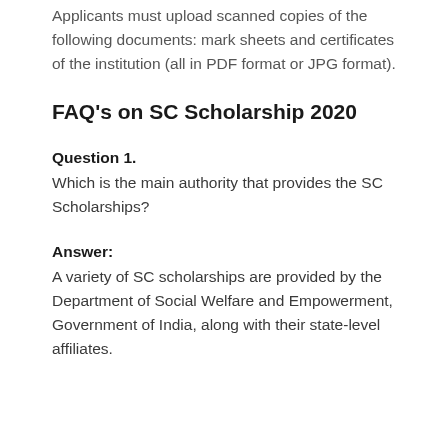Applicants must upload scanned copies of the following documents: mark sheets and certificates of the institution (all in PDF format or JPG format).
FAQ's on SC Scholarship 2020
Question 1.
Which is the main authority that provides the SC Scholarships?
Answer:
A variety of SC scholarships are provided by the Department of Social Welfare and Empowerment, Government of India, along with their state-level affiliates.